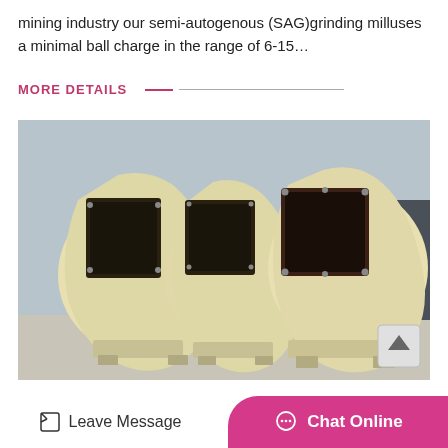mining industry our semi-autogenous (SAG)grinding milluses a minimal ball charge in the range of 6-15…
MORE DETAILS
[Figure (photo): Three large industrial centrifugal blower/fan units painted cream/beige with dark square inlet flanges, sitting on a concrete surface outdoors. Industrial equipment visible in background.]
Leave Message
Chat Online